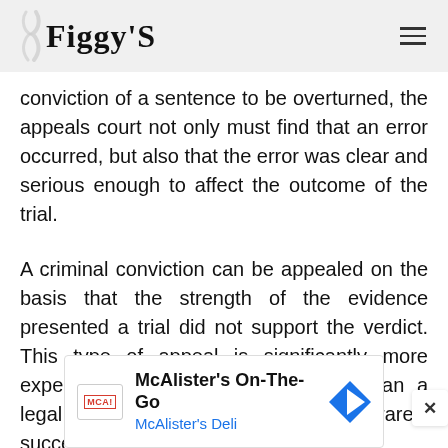Figgy'S
conviction of a sentence to be overturned, the appeals court not only must find that an error occurred, but also that the error was clear and serious enough to affect the outcome of the trial.
A criminal conviction can be appealed on the basis that the strength of the evidence presented a trial did not support the verdict. This type of appeal is significantly more expensive and much more lengthy than a legal error appeal and even more rarely successful.
[Figure (screenshot): McAlister's On-The-Go advertisement banner with McAlister's Deli logo, navigation arrow icon, and close/skip controls]